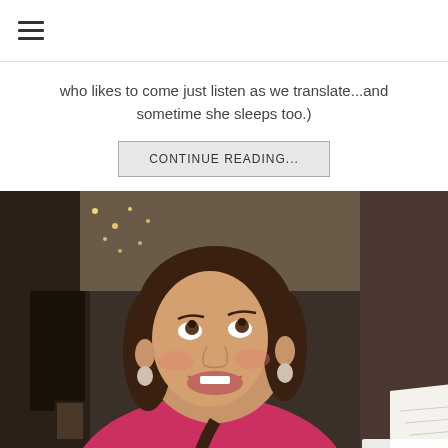≡
who likes to come just listen as we translate...and sometime she sleeps too.)
CONTINUE READING...
[Figure (photo): A smiling woman with brown braided hair, wearing a pink top, looking upward and laughing. She appears to be holding a document. Background shows a dimly lit room. A reCAPTCHA Privacy/Terms badge is visible in the bottom-right corner.]